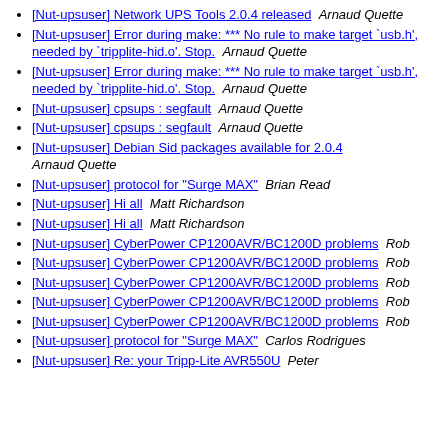[Nut-upsuser] Network UPS Tools 2.0.4 released  Arnaud Quette
[Nut-upsuser] Error during make: *** No rule to make target `usb.h', needed by `tripplite-hid.o'. Stop.  Arnaud Quette
[Nut-upsuser] Error during make: *** No rule to make target `usb.h', needed by `tripplite-hid.o'. Stop.  Arnaud Quette
[Nut-upsuser] cpsups : segfault  Arnaud Quette
[Nut-upsuser] cpsups : segfault  Arnaud Quette
[Nut-upsuser] Debian Sid packages available for 2.0.4  Arnaud Quette
[Nut-upsuser] protocol for "Surge MAX"  Brian Read
[Nut-upsuser] Hi all  Matt Richardson
[Nut-upsuser] Hi all  Matt Richardson
[Nut-upsuser] CyberPower CP1200AVR/BC1200D problems  Rob
[Nut-upsuser] CyberPower CP1200AVR/BC1200D problems  Rob
[Nut-upsuser] CyberPower CP1200AVR/BC1200D problems  Rob
[Nut-upsuser] CyberPower CP1200AVR/BC1200D problems  Rob
[Nut-upsuser] CyberPower CP1200AVR/BC1200D problems  Rob
[Nut-upsuser] protocol for "Surge MAX"  Carlos Rodrigues
[Nut-upsuser] Re: your Tripp-Lite AVR550U  Peter